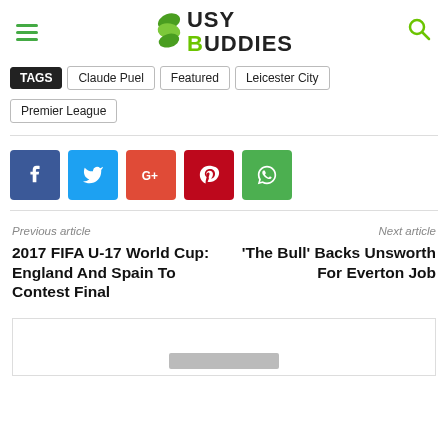Busy Buddies
TAGS  Claude Puel  Featured  Leicester City  Premier League
[Figure (other): Social share buttons: Facebook (blue), Twitter (light blue), Google+ (orange-red), Pinterest (red), WhatsApp (green)]
Previous article
Next article
2017 FIFA U-17 World Cup: England And Spain To Contest Final
'The Bull' Backs Unsworth For Everton Job